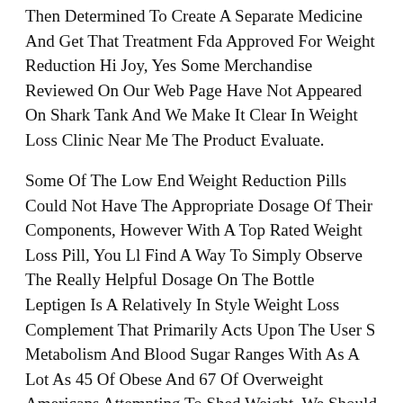Then Determined To Create A Separate Medicine And Get That Treatment Fda Approved For Weight Reduction Hi Joy, Yes Some Merchandise Reviewed On Our Web Page Have Not Appeared On Shark Tank And We Make It Clear In Weight Loss Clinic Near Me The Product Evaluate.
Some Of The Low End Weight Reduction Pills Could Not Have The Appropriate Dosage Of Their Components, However With A Top Rated Weight Loss Pill, You Ll Find A Way To Simply Observe The Really Helpful Dosage On The Bottle Leptigen Is A Relatively In Style Weight Loss Complement That Primarily Acts Upon The User S Metabolism And Blood Sugar Ranges With As A Lot As 45 Of Obese And 67 Of Overweight Americans Attempting To Shed Weight, We Should Suspect That The Demand For Diet Pills Is Huge.